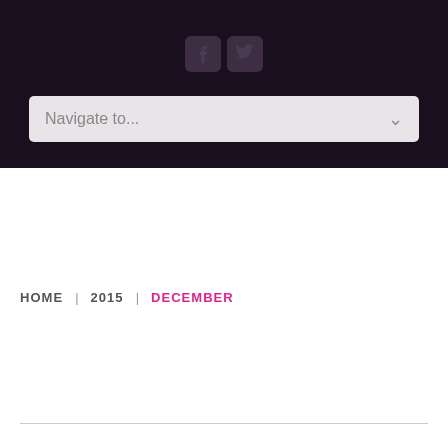[Figure (screenshot): Dark header area with Facebook and Twitter social media icons]
Navigate to...
HOME | 2015 | DECEMBER